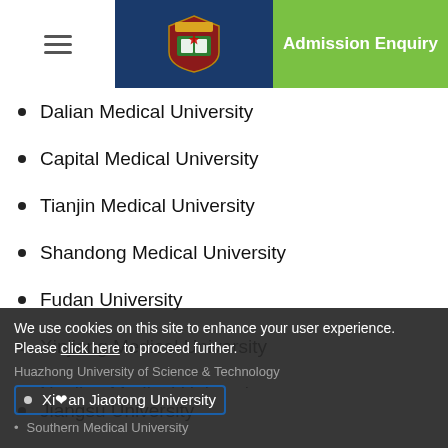[Figure (screenshot): Website header with hamburger menu icon on left, university logo/crest in dark blue center, and green 'Admission Enquiry' button on right]
Dalian Medical University
Capital Medical University
Tianjin Medical University
Shandong Medical University
Fudan University
Xinjiang Medical University
Nanjing Medical University
Jiangsu University
Wenzhou Medical University
Zhejiang University
Wuhan University
Huazhong University of Science & Technology
Xi'an Jiaotong University
Southern Medical University
We use cookies on this site to enhance your user experience. Please click here to proceed further.